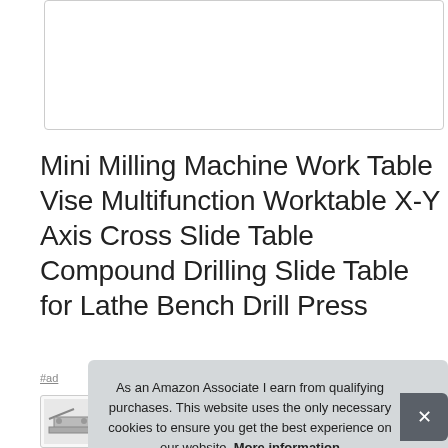[Figure (photo): Product image placeholder box (white rectangle with border)]
Mini Milling Machine Work Table Vise Multifunction Worktable X-Y Axis Cross Slide Table Compound Drilling Slide Table for Lathe Bench Drill Press
#ad
[Figure (photo): Thumbnail of product (milling machine work table)]
As an Amazon Associate I earn from qualifying purchases. This website uses the only necessary cookies to ensure you get the best experience on our website. More information